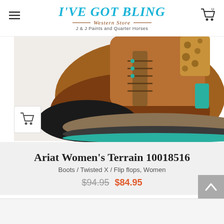[Figure (logo): I've Got Bling Western Store logo with teal/blue decorative text, brown horizontal lines, and tagline 'J & J Paints and Quarter Horses']
[Figure (photo): Close-up photo of an Ariat Women's Terrain boot in brown leather with leopard print accents and teal/turquoise trim on sole and heel]
Ariat Women’s Terrain 10018516
Boots / Twisted X / Flip flops, Women
$94.95  $84.95